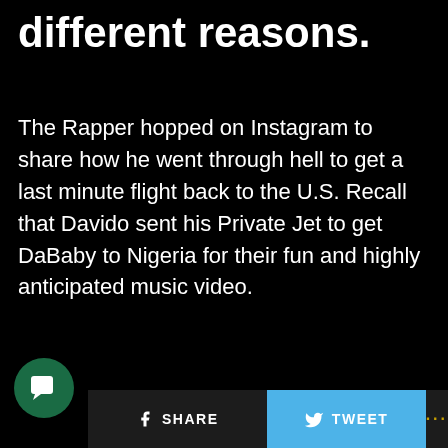different reasons.
The Rapper hopped on Instagram to share how he went through hell to get a last minute flight back to the U.S. Recall that Davido sent his Private Jet to get DaBaby to Nigeria for their fun and highly anticipated music video.
SHARE  TWEET  ...